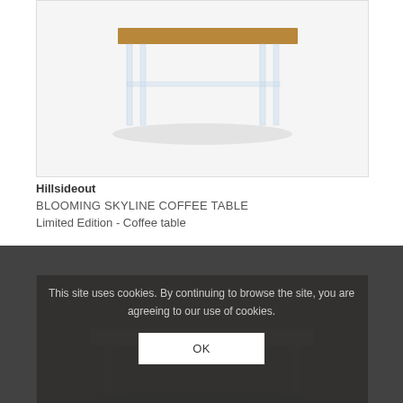[Figure (photo): Product photo of the Blooming Skyline Coffee Table by Hillsideout — a coffee table with acrylic/lucite legs and a wooden top, shown on white background]
Hillsideout
BLOOMING SKYLINE COFFEE TABLE
Limited Edition - Coffee table
[Figure (photo): Second product photo of a dark wooden coffee table on dark background]
This site uses cookies. By continuing to browse the site, you are agreeing to our use of cookies.
OK